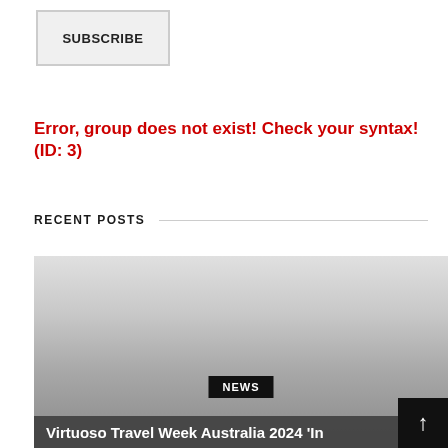SUBSCRIBE
Error, group does not exist! Check your syntax! (ID: 3)
RECENT POSTS
[Figure (photo): Gray gradient placeholder image for a news article about Virtuoso Travel Week Australia 2024, with a black NEWS badge overlay and partial article title visible at the bottom.]
Virtuoso Travel Week Australia 2024 'In